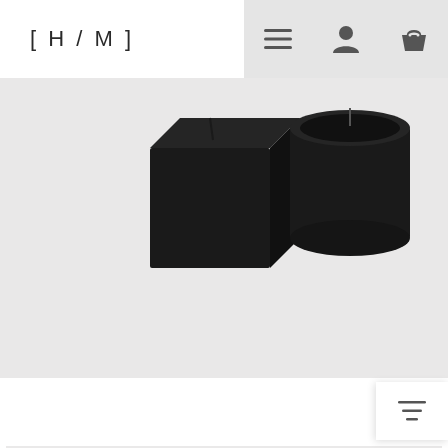[ H / M ]
[Figure (photo): Two black candles/incense holders on grey background: one square cube shape on the left and one cylindrical shape on the right, each with a dark wick on top.]
Quolo Incense Holder
$113 – $1
[Figure (photo): Partially visible product card with 'Popular' badge in gold text on white pill badge, five gold stars rating on the right, and a silver clock/key winding mechanism partially visible at the bottom center. Grey background.]